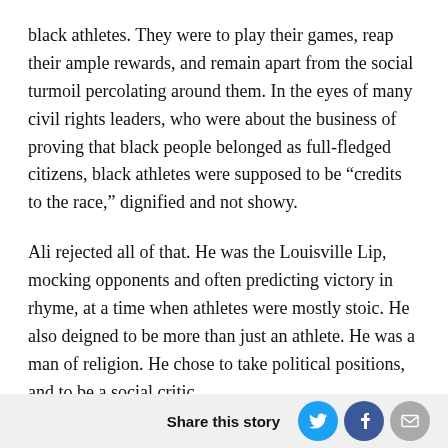black athletes. They were to play their games, reap their ample rewards, and remain apart from the social turmoil percolating around them. In the eyes of many civil rights leaders, who were about the business of proving that black people belonged as full-fledged citizens, black athletes were supposed to be “credits to the race,” dignified and not showy.
Ali rejected all of that. He was the Louisville Lip, mocking opponents and often predicting victory in rhyme, at a time when athletes were mostly stoic. He also deigned to be more than just an athlete. He was a man of religion. He chose to take political positions, and to be a social critic.
At the time, a prominent black athlete could have done few things that would have been more unsettling. He
Share this story